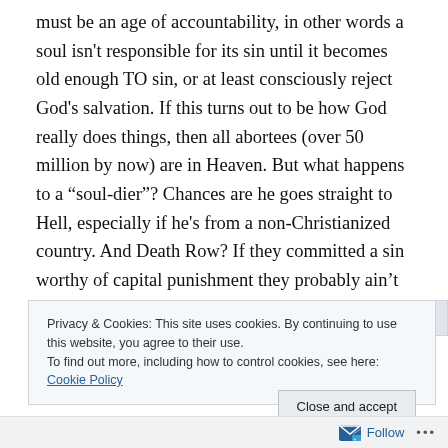must be an age of accountability, in other words a soul isn't responsible for its sin until it becomes old enough TO sin, or at least consciously reject God's salvation.  If this turns out to be how God really does things, then all abortees (over 50 million by now) are in Heaven.  But what happens to a “soul-dier”?  Chances are he goes straight to Hell, especially if he's from a non-Christianized country.  And Death Row?  If they committed a sin worthy of capital punishment they probably ain’t going to Heaven.  Legalize abortion, no one goes to Hell.  Outlaw war/capital punishment and people have a better chance of finding
Privacy & Cookies: This site uses cookies. By continuing to use this website, you agree to their use.
To find out more, including how to control cookies, see here: Cookie Policy
Close and accept
Follow